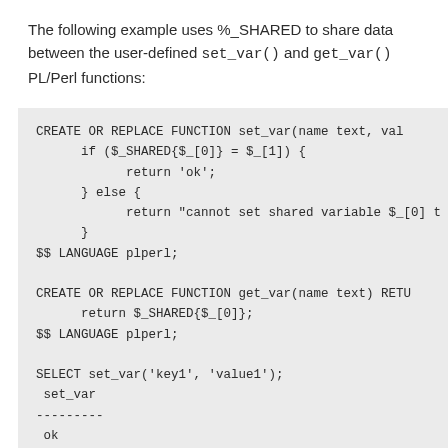The following example uses %_SHARED to share data between the user-defined set_var() and get_var() PL/Perl functions: